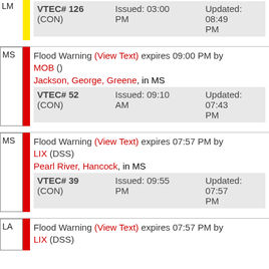| State | Alert | VTEC# | Issued | Updated |
| --- | --- | --- | --- | --- |
| LM (partial) | VTEC# 126 (CON) | Issued: 03:00 PM | Updated: 08:49 PM |
| MS | Flood Warning (View Text) expires 09:00 PM by MOB () Jackson, George, Greene, in MS | VTEC# 52 (CON) | Issued: 09:10 AM | Updated: 07:43 PM |
| MS | Flood Warning (View Text) expires 07:57 PM by LIX (DSS) Pearl River, Hancock, in MS | VTEC# 39 (CON) | Issued: 09:55 PM | Updated: 07:57 PM |
| LA | Flood Warning (View Text) expires 07:57 PM by LIX (DSS) |